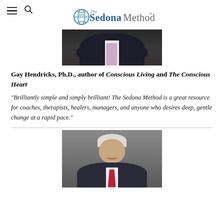The Sedona Method
[Figure (photo): Partial photo of Gay Hendricks showing torso in dark suit with light purple tie, cropped at chest/arms level]
Gay Hendricks, Ph.D., author of Conscious Living and The Conscious Heart
"Brilliantly simple and simply brilliant! The Sedona Method is a great resource for coaches, therapists, healers, managers, and anyone who desires deep, gentle change at a rapid pace."
[Figure (photo): Photo of an older man with white/silver hair, smiling, wearing a dark suit with a red tie, against a grey background]